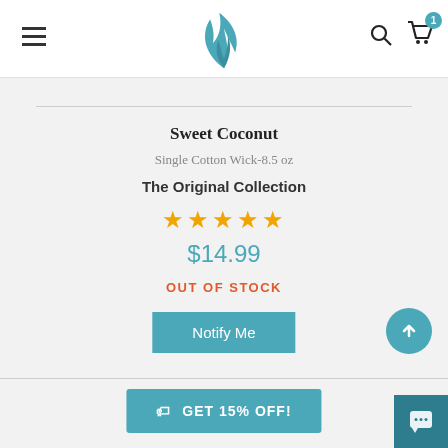Navigation header with hamburger menu, logo, search and cart icons
Sweet Coconut
Single Cotton Wick-8.5 oz
The Original Collection
[Figure (other): Five gold star rating icons]
$14.99
OUT OF STOCK
Notify Me
GET 15% OFF!